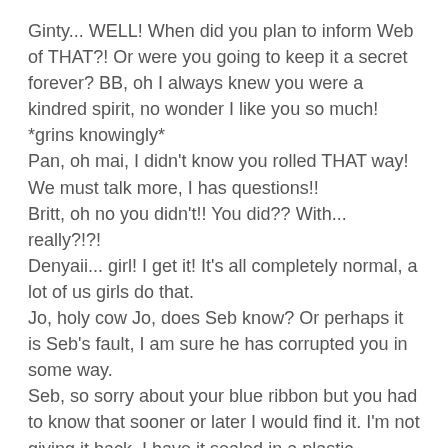Ginty... WELL! When did you plan to inform Web of THAT?! Or were you going to keep it a secret forever? BB, oh I always knew you were a kindred spirit, no wonder I like you so much! *grins knowingly*
Pan, oh mai, I didn't know you rolled THAT way! We must talk more, I has questions!!
Britt, oh no you didn't!! You did?? With... really?!?!
Denyaii... girl! I get it! It's all completely normal, a lot of us girls do that.
Jo, holy cow Jo, does Seb know? Or perhaps it is Seb's fault, I am sure he has corrupted you in some way.
Seb, so sorry about your blue ribbon but you had to know that sooner or later I would find it. I'm not giving it back. I have it sealed in a plastic baggy....
Luna, that is nothing to be ashamed of! A lot of us have to do that to stay sane.
Queenie, hwwwwwuuuooohhhhhooooo, I always know...